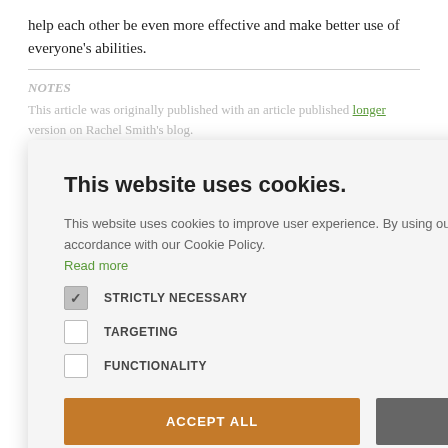help each other be even more effective and make better use of everyone's abilities.
NOTES
This article was originally published longer version on Rachel Smith's blog.
For more on role clarification, see these resources:
1. Clarifying Team Roles by Workshop Exercises
2. Discussion of Roles and Responsibilities by Collaborative Justice
3. RACI Matrix Overview by Duncan Haughey, PMP, Project Smart
[Figure (screenshot): Cookie consent modal dialog with title 'This website uses cookies.' and options for Strictly Necessary (checked), Targeting, Functionality checkboxes, plus Accept All and Decline All buttons, and a Show Details link.]